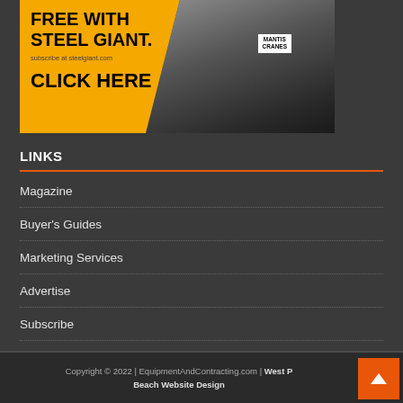[Figure (illustration): Advertisement banner with yellow/orange background on left showing bold text 'FREE WITH STEEL GIANT.' and 'CLICK HERE', and a black-and-white photo of a Mantis crane on the right.]
LINKS
Magazine
Buyer's Guides
Marketing Services
Advertise
Subscribe
Contact
Copyright © 2022 | EquipmentAndContracting.com | West Palm Beach Website Design